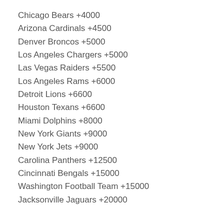Chicago Bears +4000
Arizona Cardinals +4500
Denver Broncos +5000
Los Angeles Chargers +5000
Las Vegas Raiders +5500
Los Angeles Rams +6000
Detroit Lions +6600
Houston Texans +6600
Miami Dolphins +8000
New York Giants +9000
New York Jets +9000
Carolina Panthers +12500
Cincinnati Bengals +15000
Washington Football Team +15000
Jacksonville Jaguars +20000